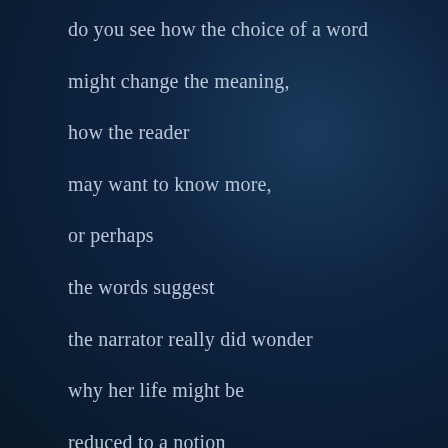do you see how the choice of a word

might change the meaning,

how the reader

may want to know more,

or perhaps

the words suggest

the narrator really did wonder

why her life might be

reduced to a notion

beyond a simple phrase